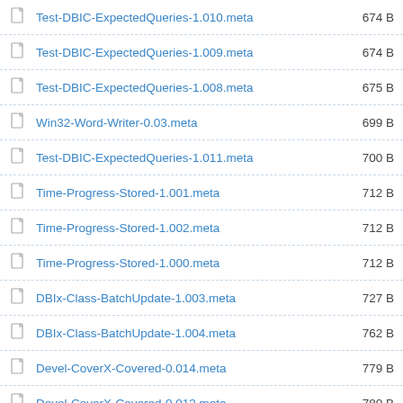Test-DBIC-ExpectedQueries-1.010.meta  674 B
Test-DBIC-ExpectedQueries-1.009.meta  674 B
Test-DBIC-ExpectedQueries-1.008.meta  675 B
Win32-Word-Writer-0.03.meta  699 B
Test-DBIC-ExpectedQueries-1.011.meta  700 B
Time-Progress-Stored-1.001.meta  712 B
Time-Progress-Stored-1.002.meta  712 B
Time-Progress-Stored-1.000.meta  712 B
DBIx-Class-BatchUpdate-1.003.meta  727 B
DBIx-Class-BatchUpdate-1.004.meta  762 B
Devel-CoverX-Covered-0.014.meta  779 B
Devel-CoverX-Covered-0.013.meta  780 B